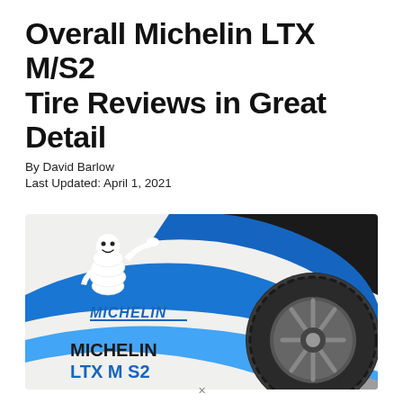Overall Michelin LTX M/S2 Tire Reviews in Great Detail
By David Barlow
Last Updated: April 1, 2021
[Figure (photo): Michelin LTX M S2 tire product advertisement image showing the Michelin Man mascot, the Michelin logo, a tire, and blue swoosh design elements on a light background with text reading MICHELIN LTX M S2]